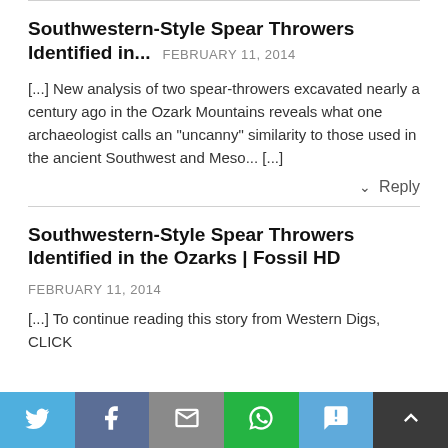Southwestern-Style Spear Throwers Identified in...  FEBRUARY 11, 2014
[...] New analysis of two spear-throwers excavated nearly a century ago in the Ozark Mountains reveals what one archaeologist calls an "uncanny" similarity to those used in the ancient Southwest and Meso...  [...]
↓ Reply
Southwestern-Style Spear Throwers Identified in the Ozarks | Fossil HD
FEBRUARY 11, 2014
[...] To continue reading this story from Western Digs, CLICK